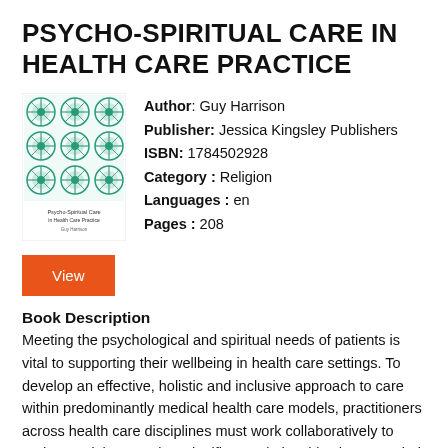PSYCHO-SPIRITUAL CARE IN HEALTH CARE PRACTICE
[Figure (illustration): Book cover of 'Psycho-spiritual Care in Health Care Practice' featuring a green geometric/mandala pattern on a white background with title text at the bottom.]
Author: Guy Harrison
Publisher: Jessica Kingsley Publishers
ISBN: 1784502928
Category : Religion
Languages : en
Pages : 208
View
Book Description
Meeting the psychological and spiritual needs of patients is vital to supporting their wellbeing in health care settings. To develop an effective, holistic and inclusive approach to care within predominantly medical health care models, practitioners across health care disciplines must work collaboratively to understand the complex, significant relationships between their patients'